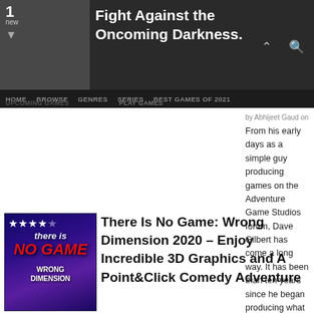Fight Against the Oncoming Darkness.
HOME  BROWSE  GENRES  SERIES  BEST GAMES OF 2021  UPCOMING GAMES  PLAY GAMES
by Abhijeet Gaud on August 18, 2022
From his early days as a simple guy producing games on the Adventure Game Studios forum, Dave Gilbert has come a long way. It has been than ten years since he began producing what became The Blackwell Legacy. Dave is now the head of WadjetEye Games, perhaps the top independent developer and publisher of point-and-click [...]
[Figure (screenshot): Game thumbnail for 'There Is No Game: Wrong Dimension' with star rating overlay]
There Is No Game: Wrong Dimension 2020 – Enjoy Incredible 3D Graphics and A Point&Click Comedy Adventure